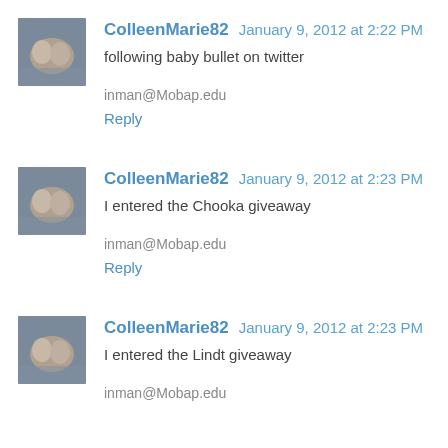[Figure (photo): Avatar photo of ColleenMarie82 showing sleeping babies]
ColleenMarie82 January 9, 2012 at 2:22 PM
following baby bullet on twitter

inman@Mobap.edu
Reply
[Figure (photo): Avatar photo of ColleenMarie82 showing sleeping babies]
ColleenMarie82 January 9, 2012 at 2:23 PM
I entered the Chooka giveaway

inman@Mobap.edu
Reply
[Figure (photo): Avatar photo of ColleenMarie82 showing sleeping babies]
ColleenMarie82 January 9, 2012 at 2:23 PM
I entered the Lindt giveaway

inman@Mobap.edu